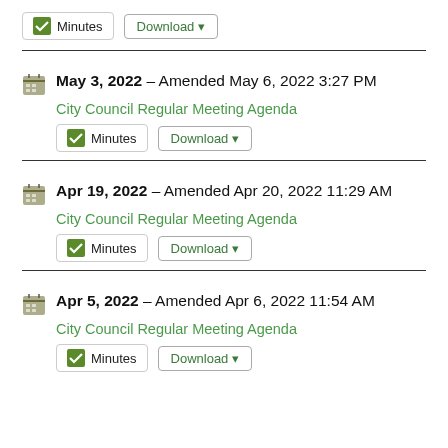Minutes  Download
May 3, 2022 – Amended May 6, 2022 3:27 PM
City Council Regular Meeting Agenda
Minutes  Download
Apr 19, 2022 – Amended Apr 20, 2022 11:29 AM
City Council Regular Meeting Agenda
Minutes  Download
Apr 5, 2022 – Amended Apr 6, 2022 11:54 AM
City Council Regular Meeting Agenda
Minutes  Download